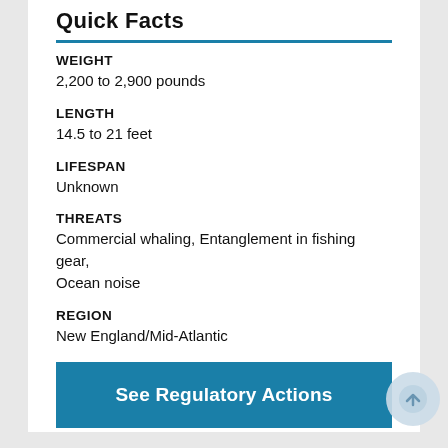Quick Facts
WEIGHT
2,200 to 2,900 pounds
LENGTH
14.5 to 21 feet
LIFESPAN
Unknown
THREATS
Commercial whaling, Entanglement in fishing gear, Ocean noise
REGION
New England/Mid-Atlantic
See Regulatory Actions